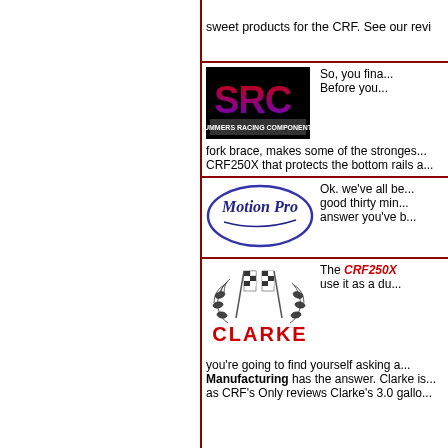sweet products for the CRF. See our revi...
[Figure (logo): SRC - Summers Racing Components logo, white text on black background]
So, you fina... Before you... fork brace, makes some of the stronges... CRF250X that protects the bottom rails a...
[Figure (logo): Motion Pro logo - cursive script in blue oval]
Ok. we've all be... good thirty min... answer you've b...
[Figure (logo): Clarke Manufacturing logo - checkered flags with laurel wreath]
The CRF250X... use it as a du... you're going to find yourself asking a... Manufacturing has the answer. Clarke is... as CRF's Only reviews Clarke's 3.0 gallo...